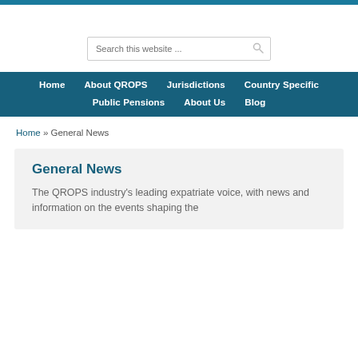Search this website ...
Home   About QROPS   Jurisdictions   Country Specific   Public Pensions   About Us   Blog
Home » General News
General News
The QROPS industry's leading expatriate voice, with news and information on the events shaping the